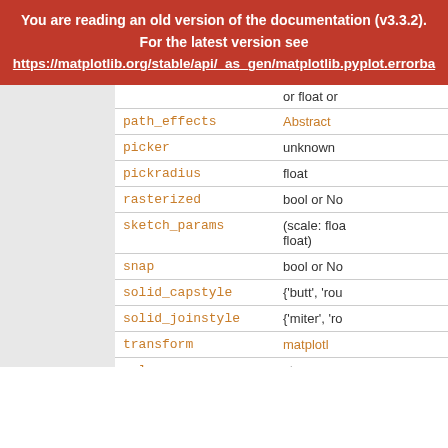You are reading an old version of the documentation (v3.3.2). For the latest version see https://matplotlib.org/stable/api/_as_gen/matplotlib.pyplot.errorba
| Parameter | Type |
| --- | --- |
|  | or float or |
| path_effects | Abstract |
| picker | unknown |
| pickradius | float |
| rasterized | bool or No |
| sketch_params | (scale: floa float) |
| snap | bool or No |
| solid_capstyle | {'butt', 'rou |
| solid_joinstyle | {'miter', 'ro |
| transform | matplotl |
| url | str |
| visible | bool |
| xdata | 1D array |
| ydata | 1D array |